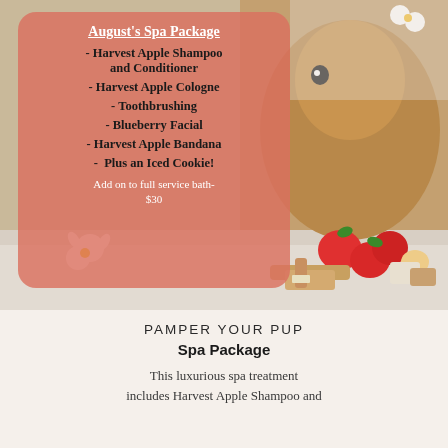[Figure (photo): A cute fluffy dog in a bath setting with apples, flowers, spa items including a brush and soap bars, with a pink overlay card listing spa package items]
August's Spa Package
- Harvest Apple Shampoo and Conditioner
- Harvest Apple Cologne
- Toothbrushing
- Blueberry Facial
- Harvest Apple Bandana
- Plus an Iced Cookie!
Add on to full service bath- $30
PAMPER YOUR PUP
Spa Package
This luxurious spa treatment includes Harvest Apple Shampoo and